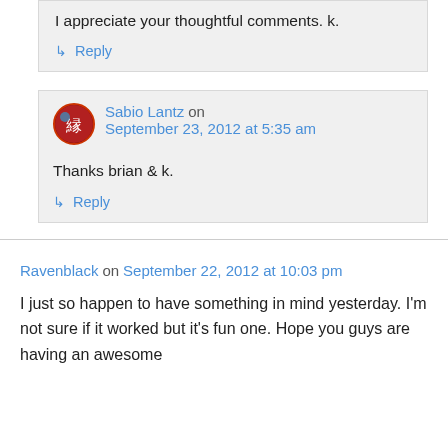I appreciate your thoughtful comments. k.
↳ Reply
Sabio Lantz on September 23, 2012 at 5:35 am
Thanks brian & k.
↳ Reply
Ravenblack on September 22, 2012 at 10:03 pm
I just so happen to have something in mind yesterday. I'm not sure if it worked but it's fun one. Hope you guys are having an awesome